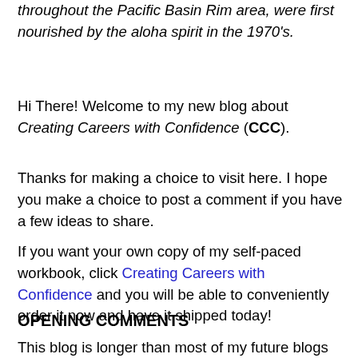throughout the Pacific Basin Rim area, were first nourished by the aloha spirit in the 1970's.
Hi There! Welcome to my new blog about Creating Careers with Confidence (CCC).
Thanks for making a choice to visit here. I hope you make a choice to post a comment if you have a few ideas to share.
If you want your own copy of my self-paced workbook, click Creating Careers with Confidence and you will be able to conveniently order it now and have it shipped today!
OPENING COMMENTS
This blog is longer than most of my future blogs because it is the first blog and includes background information and some